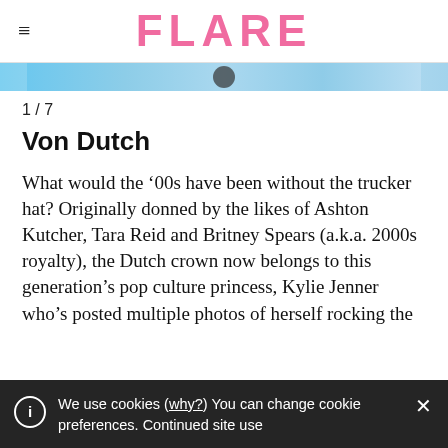FLARE
[Figure (photo): Partial image strip showing a cropped photo, appears to be a person with blue/sky background]
1 / 7
Von Dutch
What would the ’00s have been without the trucker hat? Originally donned by the likes of Ashton Kutcher, Tara Reid and Britney Spears (a.k.a. 2000s royalty), the Dutch crown now belongs to this generation’s pop culture princess, Kylie Jenner who’s posted multiple photos of herself rocking the
We use cookies (why?) You can change cookie preferences. Continued site use